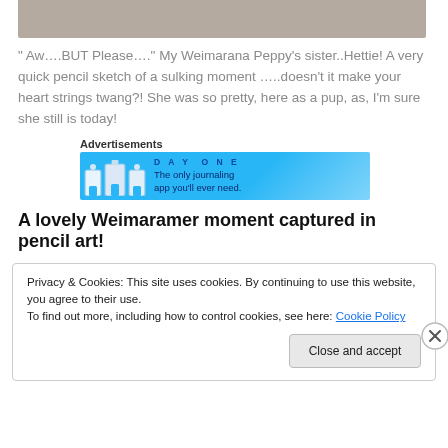[Figure (photo): Top portion of an image, cropped, showing a grayish-brown/taupe colored area — the top of a Weimaraner dog photo.]
" Aw….BUT Please…." My Weimarana Peppy's sister..Hettie! A very quick pencil sketch of a sulking moment …..doesn't it make your heart strings twang?! She was so pretty, here as a pup, as, I'm sure she still is today!
Advertisements
[Figure (screenshot): Advertisement banner for Day One journaling app. Blue background with illustrated buildings/icons on left and text 'The only journaling app you'll ever need.' on the right.]
A lovely Weimaramer moment captured in pencil art!
Privacy & Cookies: This site uses cookies. By continuing to use this website, you agree to their use.
To find out more, including how to control cookies, see here: Cookie Policy
Close and accept